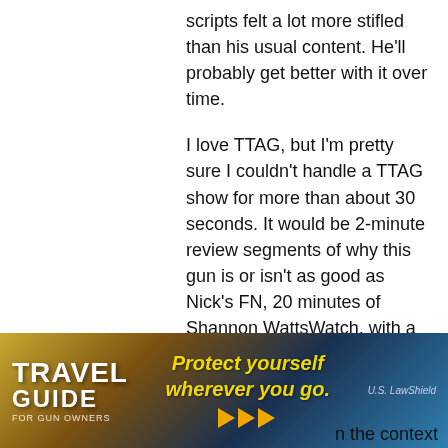scripts felt a lot more stifled than his usual content. He'll probably get better with it over time.
I love TTAG, but I'm pretty sure I couldn't handle a TTAG show for more than about 30 seconds. It would be 2-minute review segments of why this gun is or isn't as good as Nick's FN, 20 minutes of Shannon WattsWatch, with a BREAKING every 5 mins or so, and maybe a KJW trick shot to lighten the mood, before another BREAKING.
I would probably tune in for Matt's Minute, but with all the MDA coverage I figure his content would run under the credits or something.
Reply
William Burke
[Figure (advertisement): Travel Guide for Gun Owners advertisement banner. Orange and dark blue background with text 'TRAVEL GUIDE', tagline 'Protect yourself wherever you go.' with orange play button arrows, and U.S. LawShield branding.]
n the context